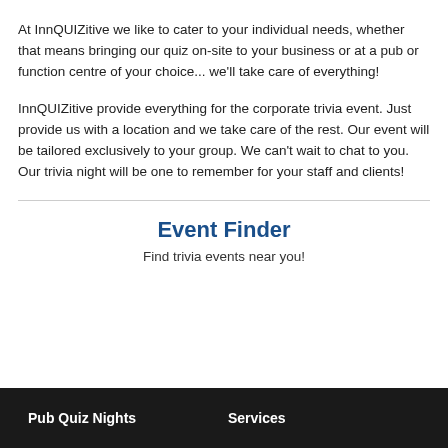At InnQUIZitive we like to cater to your individual needs, whether that means bringing our quiz on-site to your business or at a pub or function centre of your choice... we'll take care of everything!
InnQUIZitive provide everything for the corporate trivia event. Just provide us with a location and we take care of the rest. Our event will be tailored exclusively to your group. We can't wait to chat to you. Our trivia night will be one to remember for your staff and clients!
Event Finder
Find trivia events near you!
Pub Quiz Nights   Services